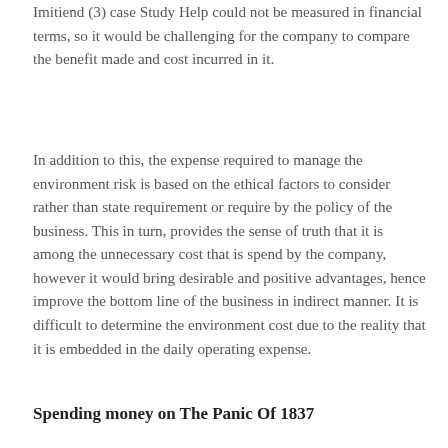Imitiend (3) case Study Help could not be measured in financial terms, so it would be challenging for the company to compare the benefit made and cost incurred in it.
In addition to this, the expense required to manage the environment risk is based on the ethical factors to consider rather than state requirement or require by the policy of the business. This in turn, provides the sense of truth that it is among the unnecessary cost that is spend by the company, however it would bring desirable and positive advantages, hence improve the bottom line of the business in indirect manner. It is difficult to determine the environment cost due to the reality that it is embedded in the daily operating expense.
Spending money on The Panic Of 1837 And The Market Revolution American History